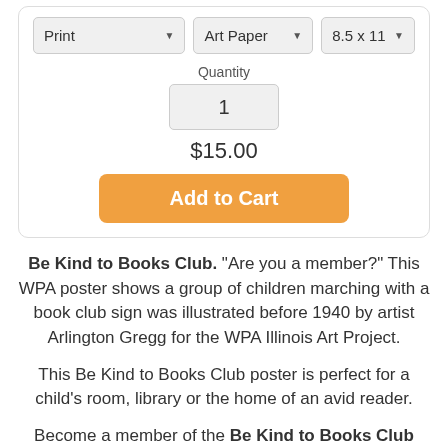[Figure (screenshot): E-commerce product options card with dropdown selectors for Print, Art Paper, 8.5 x 11, quantity input showing 1, price $15.00, and orange Add to Cart button]
Be Kind to Books Club. "Are you a member?" This WPA poster shows a group of children marching with a book club sign was illustrated before 1940 by artist Arlington Gregg for the WPA Illinois Art Project.
This Be Kind to Books Club poster is perfect for a child's room, library or the home of an avid reader.
Become a member of the Be Kind to Books Club and show of your support with this bold design. The Be...